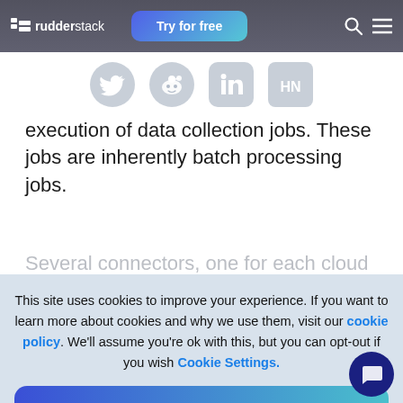rudderstack — Try for free
[Figure (infographic): Social sharing icons: Twitter, Reddit, LinkedIn, Hacker News]
execution of data collection jobs. These jobs are inherently batch processing jobs.
Several connectors, one for each cloud
This site uses cookies to improve your experience. If you want to learn more about cookies and why we use them, visit our cookie policy.  We'll assume you're ok with this, but you can opt-out if you wish  Cookie Settings.
Accept